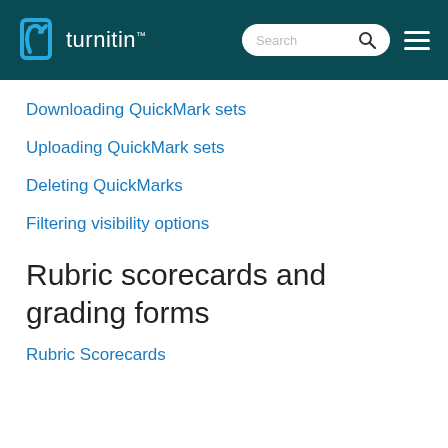turnitin
Downloading QuickMark sets
Uploading QuickMark sets
Deleting QuickMarks
Filtering visibility options
Rubric scorecards and grading forms
Rubric Scorecards